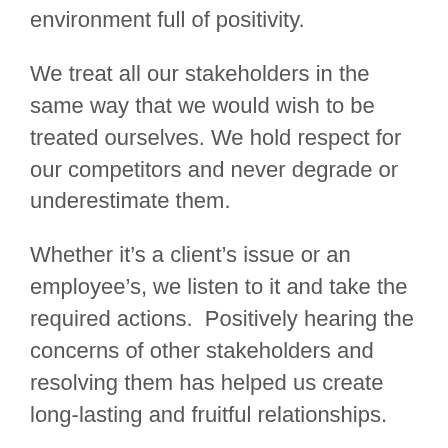environment full of positivity.
We treat all our stakeholders in the same way that we would wish to be treated ourselves. We hold respect for our competitors and never degrade or underestimate them.
Whether it’s a client’s issue or an employee’s, we listen to it and take the required actions.  Positively hearing the concerns of other stakeholders and resolving them has helped us create long-lasting and fruitful relationships.